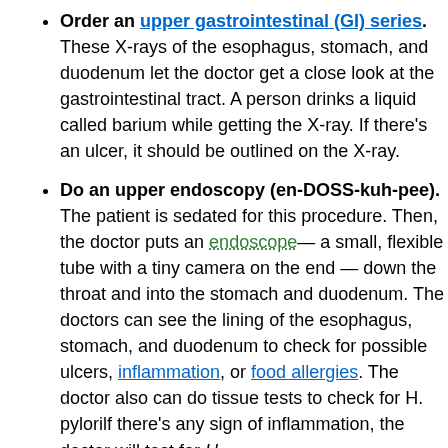Order an upper gastrointestinal (GI) series. These X-rays of the esophagus, stomach, and duodenum let the doctor get a close look at the gastrointestinal tract. A person drinks a liquid called barium while getting the X-ray. If there's an ulcer, it should be outlined on the X-ray.
Do an upper endoscopy (en-DOSS-kuh-pee). The patient is sedated for this procedure. Then, the doctor puts an endoscope— a small, flexible tube with a tiny camera on the end — down the throat and into the stomach and duodenum. The doctors can see the lining of the esophagus, stomach, and duodenum to check for possible ulcers, inflammation, or food allergies. The doctor also can do tissue tests to check for H. pylorilf there's any sign of inflammation, the doctor will test for H.